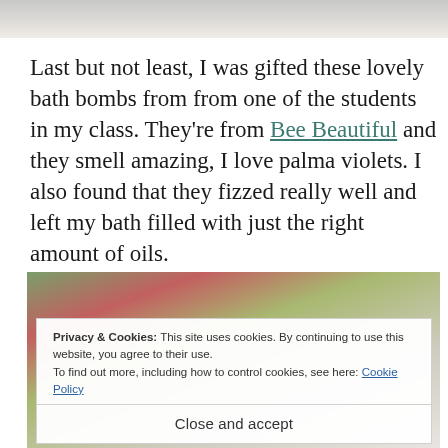[Figure (photo): Top portion of a photo, light grey/white background visible at top of page]
Last but not least, I was gifted these lovely bath bombs from from one of the students in my class. They're from Bee Beautiful and they smell amazing, I love palma violets. I also found that they fizzed really well and left my bath filled with just the right amount of oils.
[Figure (photo): Photo showing flowers (red and green) and what appears to be bath bomb packaging with text 'violets' and '10g' visible at the bottom]
Privacy & Cookies: This site uses cookies. By continuing to use this website, you agree to their use.
To find out more, including how to control cookies, see here: Cookie Policy
Close and accept